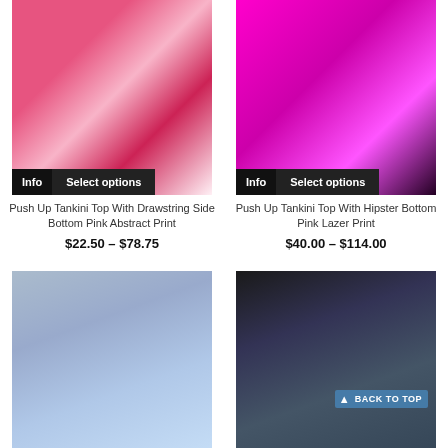[Figure (photo): Woman wearing pink abstract print push-up tankini top with drawstring side bottom, with Info and Select options buttons overlay]
[Figure (photo): Woman wearing hot pink lazer print push-up tankini top with hipster bottom, with Info and Select options buttons overlay]
Push Up Tankini Top With Drawstring Side Bottom Pink Abstract Print
$22.50 – $78.75
Push Up Tankini Top With Hipster Bottom Pink Lazer Print
$40.00 – $114.00
[Figure (photo): Woman in blue swimsuit at beach]
[Figure (photo): Woman in multicolor dark swimsuit with Back to Top button overlay]